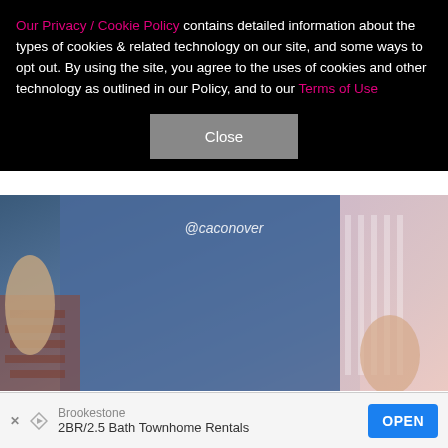Our Privacy / Cookie Policy contains detailed information about the types of cookies & related technology on our site, and some ways to opt out. By using the site, you agree to the uses of cookies and other technology as outlined in our Policy, and to our Terms of Use
[Figure (screenshot): Close button dialog on dark background]
[Figure (photo): Photo of a person wearing jeans and a pink top, with @caconover watermark]
27/39   @NATALIEMELS / INSTAGRAM
In other "Southern Charm" love news… Earlier this year, Craig Conover revealed he had a new girlfriend: a woman he met in Aspen in January. After he referred to her as Natalie during a late November Instagram Live
Brookestone
2BR/2.5 Bath Townhome Rentals  OPEN